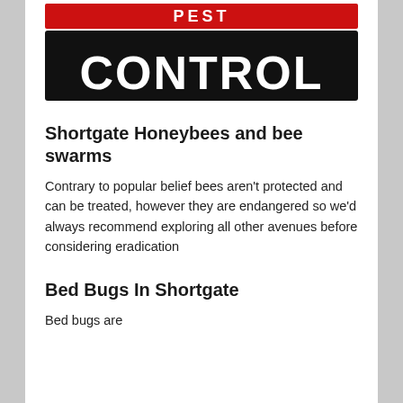[Figure (logo): Pest control company logo with 'CONTROL' in bold black and white block letters on a black background, with red decorative text above]
Shortgate Honeybees and bee swarms
Contrary to popular belief bees aren't protected and can be treated, however they are endangered so we'd always recommend exploring all other avenues before considering eradication
Bed Bugs In Shortgate
Bed bugs are...